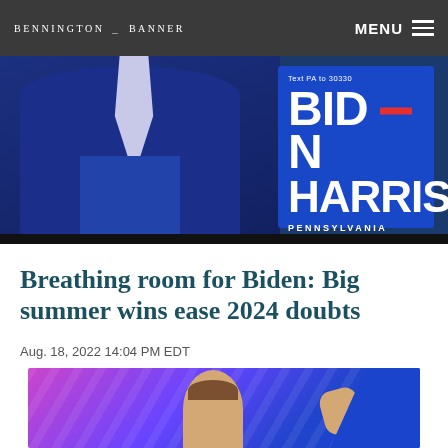BENNINGTON BANNER | MENU
[Figure (photo): Person in blue suit at a podium next to a Biden-Harris Pennsylvania campaign sign reading 'Text PA to 30330']
Breathing room for Biden: Big summer wins ease 2024 doubts
Aug. 18, 2022 14:04 PM EDT
[Figure (photo): Person speaking at an event with colorful blue and purple background lighting, raising one hand]